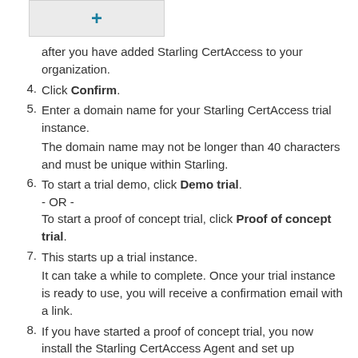[Figure (other): A button with a blue plus sign on a gray background]
after you have added Starling CertAccess to your organization.
Click Confirm.
Enter a domain name for your Starling CertAccess trial instance.
The domain name may not be longer than 40 characters and must be unique within Starling.
To start a trial demo, click Demo trial.
- OR -
To start a proof of concept trial, click Proof of concept trial.
This starts up a trial instance.
It can take a while to complete. Once your trial instance is ready to use, you will receive a confirmation email with a link.
If you have started a proof of concept trial, you now install the Starling CertAccess Agent and set up synchronization with your One Identity Active Roles.
For more information, see Setting up initial